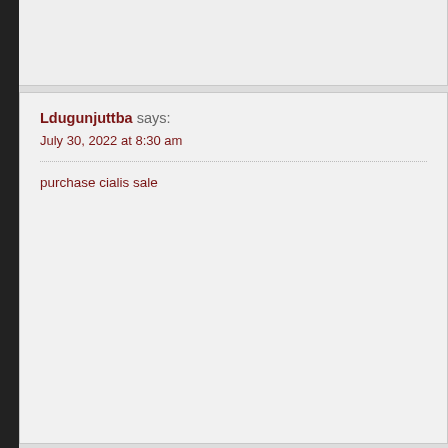Ldugunjuttba says:
July 30, 2022 at 8:30 am
purchase cialis sale
Sdugunjuttgo says:
August 5, 2022 at 5:34 pm
oral stromectol 12mg
Udugunjuttkp says:
August 9, 2022 at 9:08 am
stromectol 12mg generic